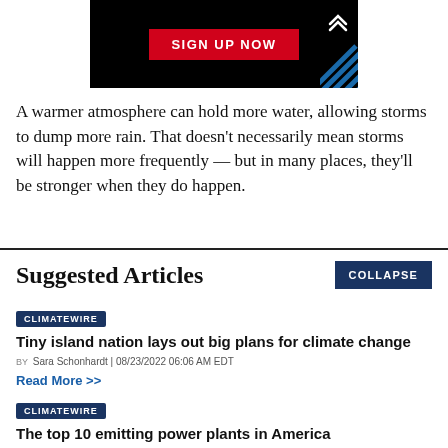[Figure (other): Advertisement banner with black background, red 'SIGN UP NOW' button, chevron arrows top right and diagonal blue striped pattern bottom right]
A warmer atmosphere can hold more water, allowing storms to dump more rain. That doesn't necessarily mean storms will happen more frequently — but in many places, they'll be stronger when they do happen.
Suggested Articles
Tiny island nation lays out big plans for climate change
BY Sara Schonhardt | 08/23/2022 06:06 AM EDT
Read More >>
The top 10 emitting power plants in America